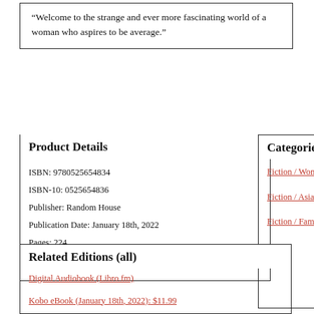“Welcome to the strange and ever more fascinating world of a woman who aspires to be average.”
Product Details
ISBN: 9780525654834
ISBN-10: 0525654836
Publisher: Random House
Publication Date: January 18th, 2022
Pages: 224
Language: English
Categories
Fiction / Women
Fiction / Asian American
Fiction / Family Life
Related Editions (all)
Digital Audiobook (Libro.fm)
Kobo eBook (January 18th, 2022): $11.99